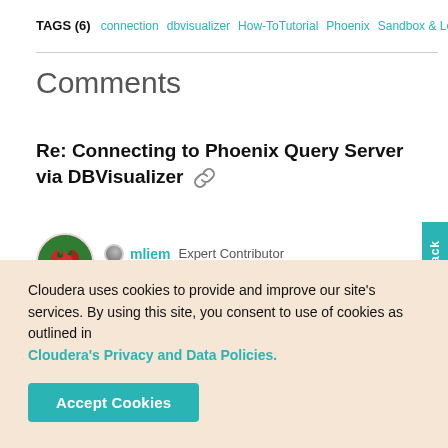TAGS (6)  connection  dbvisualizer  How-ToTutorial  Phoenix  Sandbox & Learning  UI
Comments
Re: Connecting to Phoenix Query Server via DBVisualizer 🔗
mliem  Expert Contributor
Created on  11-25-2016 05:43 AM
Cloudera uses cookies to provide and improve our site's services. By using this site, you consent to use of cookies as outlined in Cloudera's Privacy and Data Policies.
Accept Cookies